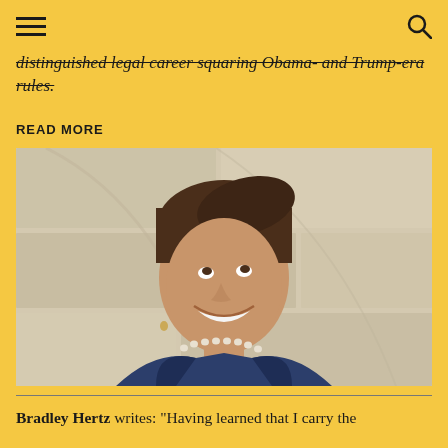[hamburger menu] [search icon]
distinguished legal career squaring Obama- and Trump-era rules.
READ MORE
[Figure (photo): A woman with short brown hair wearing a dark blazer and pearl necklace, smiling and looking upward, standing in front of a stone wall]
Bradley Hertz writes: “Having learned that I carry the